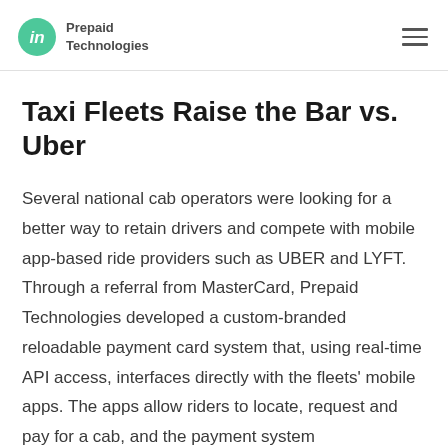Prepaid Technologies
Taxi Fleets Raise the Bar vs. Uber
Several national cab operators were looking for a better way to retain drivers and compete with mobile app-based ride providers such as UBER and LYFT. Through a referral from MasterCard, Prepaid Technologies developed a custom-branded reloadable payment card system that, using real-time API access, interfaces directly with the fleets' mobile apps. The apps allow riders to locate, request and pay for a cab, and the payment system